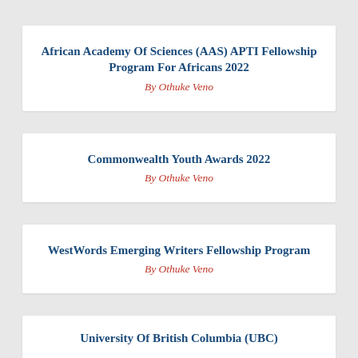African Academy Of Sciences (AAS) APTI Fellowship Program For Africans 2022
By Othuke Veno
Commonwealth Youth Awards 2022
By Othuke Veno
WestWords Emerging Writers Fellowship Program
By Othuke Veno
University Of British Columbia (UBC)